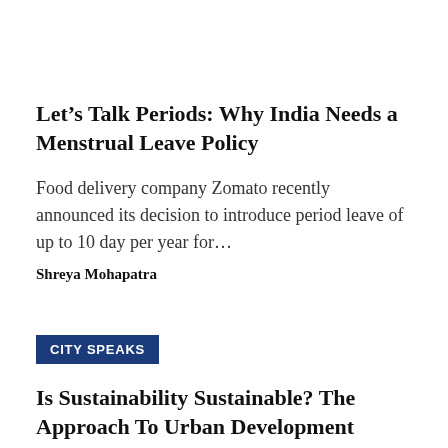Let’s Talk Periods: Why India Needs a Menstrual Leave Policy
Food delivery company Zomato recently announced its decision to introduce period leave of up to 10 day per year for…
Shreya Mohapatra
CITY SPEAKS
Is Sustainability Sustainable? The Approach To Urban Development
Dear readers, Hi, This is our first article to a column